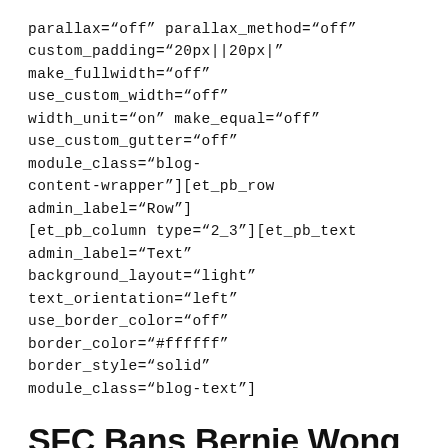parallax="off" parallax_method="off" custom_padding="20px||20px|" make_fullwidth="off" use_custom_width="off" width_unit="on" make_equal="off" use_custom_gutter="off" module_class="blog-content-wrapper"][et_pb_row admin_label="Row"][et_pb_column type="2_3"][et_pb_text admin_label="Text" background_layout="light" text_orientation="left" use_border_color="off" border_color="#ffffff" border_style="solid" module_class="blog-text"]
SFC Bans Bernie Wong Ching Man For Four Months
The Securities and Futures Commission (SFC) has prohibited Ms Bernie Wong Ching Man, a former employee of Citibank (Hong Kong) Limited, from re-entering the industry for four months from 19 May 2017 to 18 September 2017 for failing to disclose...